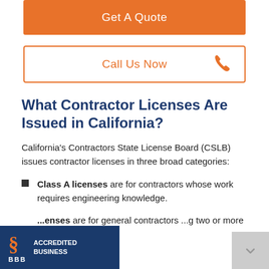[Figure (other): Orange 'Get A Quote' button]
[Figure (other): Orange outlined 'Call Us Now' button with phone icon]
What Contractor Licenses Are Issued in California?
California's Contractors State License Board (CSLB) issues contractor licenses in three broad categories:
Class A licenses are for contractors whose work requires engineering knowledge.
...enses are for general contractors ...g two or more types of
[Figure (logo): BBB Accredited Business badge]